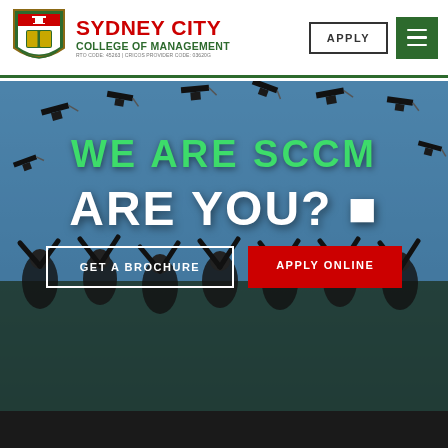[Figure (logo): Sydney City College of Management crest/shield logo with red, green and gold heraldic design]
SYDNEY CITY COLLEGE OF MANAGEMENT
RTO CODE: 45263 | CRICOS PROVIDER CODE: 03620G
APPLY
[Figure (photo): Graduates in black caps and gowns tossing mortarboard caps into the air against a blue sky, with blue overlay tint]
WE ARE SCCM
ARE YOU?
GET A BROCHURE
APPLY ONLINE